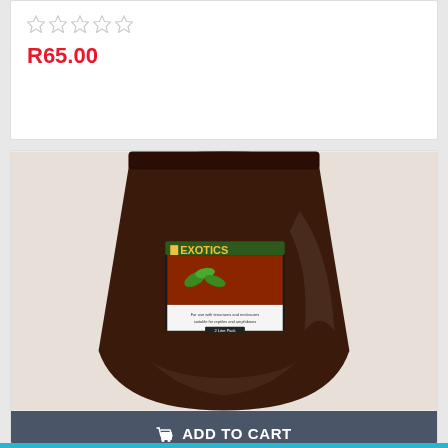[Figure (other): Five empty star rating icons in a row]
R65.00
[Figure (photo): A large bag of Exotics brand Coco Husk 2 Ltr reptile substrate, dark brown color in a clear plastic bag with a product label]
ADD TO CART
Coco Husk 2 Ltr
[Figure (other): 4.5 out of 5 star rating with four full gold stars and one half gold star]
R40.61